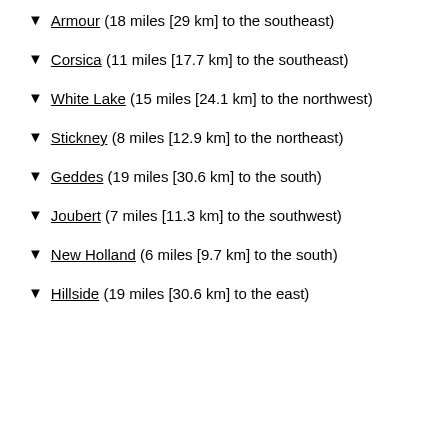▼ Armour (18 miles [29 km] to the southeast)
▼ Corsica (11 miles [17.7 km] to the southeast)
▼ White Lake (15 miles [24.1 km] to the northwest)
▼ Stickney (8 miles [12.9 km] to the northeast)
▼ Geddes (19 miles [30.6 km] to the south)
▼ Joubert (7 miles [11.3 km] to the southwest)
▼ New Holland (6 miles [9.7 km] to the south)
▼ Hillside (19 miles [30.6 km] to the east)